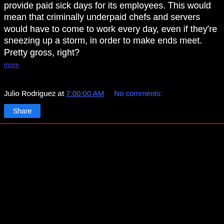provide paid sick days for its employees. This would mean that criminally underpaid chefs and servers would have to come to work every day, even if they're sneezing up a storm, in order to make ends meet. Pretty gross, right?
more
Julio Rodriguez at 7:00:00 AM   No comments:
Tampa Bay Driverless Cars
[Figure (illustration): Retro-futuristic illustration of a city with tall spiral tower building, skyscrapers, and futuristic cars on a wide road at night/dusk]